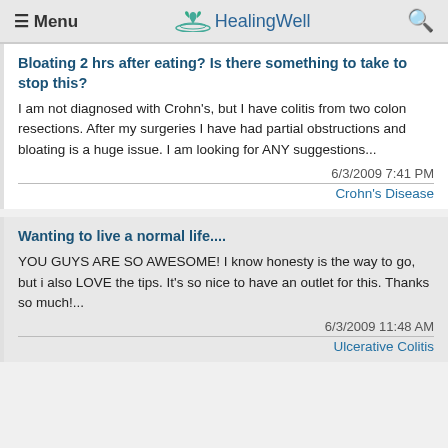≡ Menu  HealingWell  🔍
Bloating 2 hrs after eating? Is there something to take to stop this?
I am not diagnosed with Crohn's, but I have colitis from two colon resections. After my surgeries I have had partial obstructions and bloating is a huge issue. I am looking for ANY suggestions...
6/3/2009 7:41 PM
Crohn's Disease
Wanting to live a normal life....
YOU GUYS ARE SO AWESOME! I know honesty is the way to go, but i also LOVE the tips. It's so nice to have an outlet for this. Thanks so much!...
6/3/2009 11:48 AM
Ulcerative Colitis